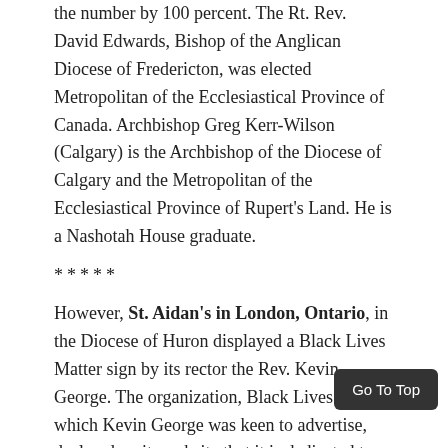the number by 100 percent. The Rt. Rev. David Edwards, Bishop of the Anglican Diocese of Fredericton, was elected Metropolitan of the Ecclesiastical Province of Canada. Archbishop Greg Kerr-Wilson (Calgary) is the Archbishop of the Diocese of Calgary and the Metropolitan of the Ecclesiastical Province of Rupert's Land. He is a Nashotah House graduate.
*****
However, St. Aidan's in London, Ontario, in the Diocese of Huron displayed a Black Lives Matter sign by its rector the Rev. Kevin George. The organization, Black Lives Matter, which Kevin George was keen to advertise, declared on its website that it is dedicated to overturning the nuclear family, dismantling cisgender privilege, dismantling the patriarchy, fostering a queer-aff... network and uplifting Black trans folk. Among ... things. The founders of BLM, Patrisse Khan-Cullors and